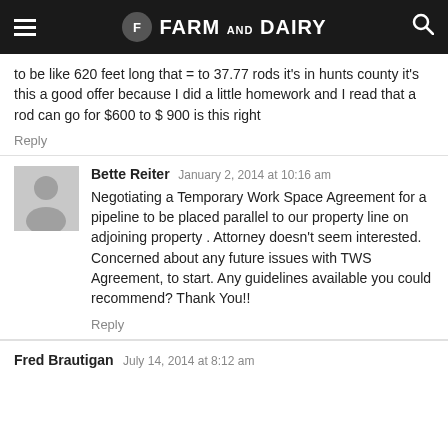Farm and Dairy
to be like 620 feet long that = to 37.77 rods it's in hunts county it's this a good offer because I did a little homework and I read that a rod can go for $600 to $ 900 is this right
Reply
Bette Reiter January 2, 2014 at 10:16 am
Negotiating a Temporary Work Space Agreement for a pipeline to be placed parallel to our property line on adjoining property . Attorney doesn't seem interested. Concerned about any future issues with TWS Agreement, to start. Any guidelines available you could recommend? Thank You!!
Reply
Fred Brautigan July 14, 2014 at 8:12 am